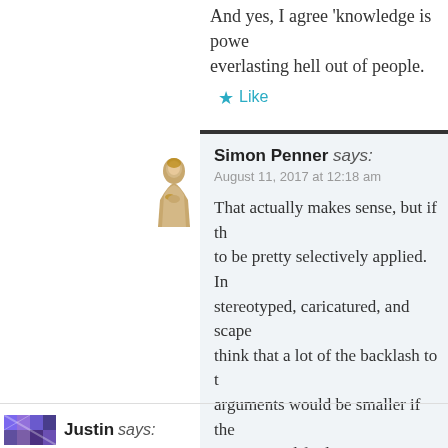And yes, I agree 'knowledge is power' everlasting hell out of people.
★ Like
Simon Penner says: August 11, 2017 at 12:18 am
That actually makes sense, but if th to be pretty selectively applied. In stereotyped, caricatured, and scape think that a lot of the backlash to t arguments would be smaller if the were treated fairly
★ Like
Justin says: